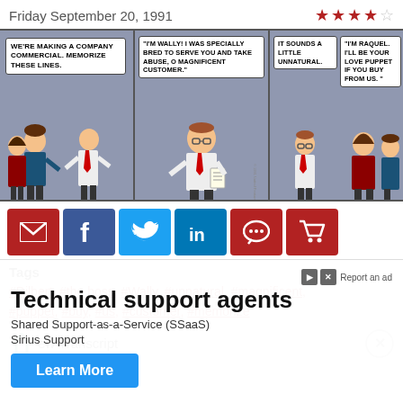Friday September 20, 1991
[Figure (illustration): Dilbert comic strip with three panels: Panel 1 - Boss says 'WE'RE MAKING A COMPANY COMMERCIAL. MEMORIZE THESE LINES.' Panel 2 - Wally says 'I'M WALLY! I WAS SPECIALLY BRED TO SERVE YOU AND TAKE ABUSE, O MAGNIFICENT CUSTOMER.' Panel 3 - Dilbert says 'IT SOUNDS A LITTLE UNNATURAL.' and character says 'I'M RAQUEL. I'LL BE YOUR LOVE PUPPET IF YOU BUY FROM US.']
[Figure (infographic): Row of 6 social sharing buttons: email (dark red), Facebook (blue), Twitter (blue), LinkedIn (blue), message (dark red), cart (dark red)]
Tags
#Dilbert, #the boss, #Wally, #unnatural, #magnificent, #puppet, #buy, #us, #customer, #memorize
View Transcript
[Figure (infographic): Advertisement overlay: Technical support agents - Shared Support-as-a-Service (SSaaS) - Sirius Support - Learn More button]